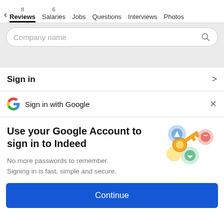8 Reviews  6 Salaries  Jobs  Questions  Interviews  Photos
[Figure (screenshot): Search bar with placeholder text 'Company name' and a magnifying glass icon]
Sign in
Sign in with Google
Use your Google Account to sign in to Indeed
No more passwords to remember. Signing in is fast, simple and secure.
[Figure (illustration): Illustration of a golden key with colorful circles/icons around it representing Google sign-in]
Continue